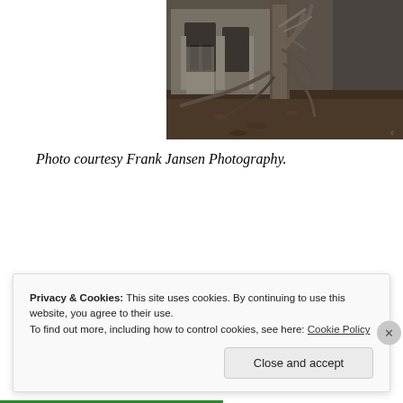[Figure (photo): Black and white / sepia photograph of an old stone building with Gothic arches and a large gnarled tree with spreading roots in the foreground, leaves on the ground.]
Photo courtesy Frank Jansen Photography.
Privacy & Cookies: This site uses cookies. By continuing to use this website, you agree to their use.
To find out more, including how to control cookies, see here: Cookie Policy